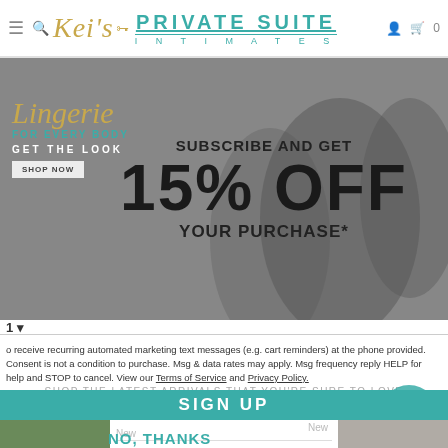Kei's Private Suite Intimates — navigation header with logo and icons
[Figure (photo): Hero banner showing lingerie models with overlay text: SUBSCRIBE AND GET 15% OFF YOUR PURCHASE*. Left side shows script text 'Lingerie FOR EVERY BODY GET THE LOOK' with a SHOP NOW button.]
1
to receive recurring automated marketing text messages (e.g. cart reminders) at the phone provided. Consent is not a condition to purchase. Msg & data rates may apply. Msg frequency reply HELP for help and STOP to cancel. View our Terms of Service and Privacy Policy.
SHOP THE LATEST ARRIVALS THAT YOU'RE SURE TO LOVE
SIGN UP
New
New
NO, THANKS